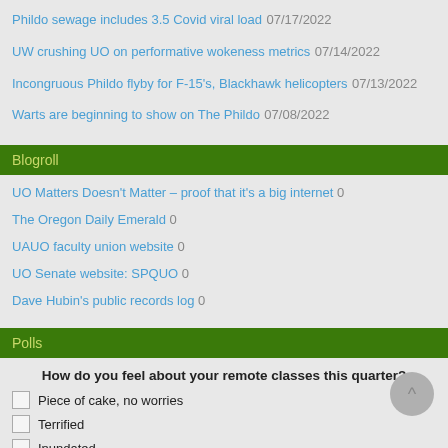Phildo sewage includes 3.5 Covid viral load 07/17/2022
UW crushing UO on performative wokeness metrics 07/14/2022
Incongruous Phildo flyby for F-15's, Blackhawk helicopters 07/13/2022
Warts are beginning to show on The Phildo 07/08/2022
Blogroll
UO Matters Doesn't Matter – proof that it's a big internet 0
The Oregon Daily Emerald 0
UAUO faculty union website 0
UO Senate website: SPQUO 0
Dave Hubin's public records log 0
Polls
How do you feel about your remote classes this quarter?
Piece of cake, no worries
Terrified
Inundated
Dealing, seems about the same